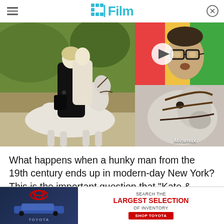/Film
[Figure (photo): Left: woman in black coat on a white horse in a park setting. Top right: man with dark-rimmed glasses with a video play button overlay. Bottom right: close-up of the white horse's head with Miramax watermark.]
Miramax
What happens when a hunky man from the 19th century ends up in modern-day New York? This is the important question that "Kate & Leopold" dares to ask. When Stuart (Liev Schreiber) discovers a time portal above the Brooklyn Bridge, he is eager to go b[ack, but Leopold does] not
[Figure (screenshot): Toyota advertisement banner: dark blue background with red Toyota logo circle, cars image, and text 'SEARCH THE LARGEST SELECTION OF INVENTORY / SHOP TOYOTA']